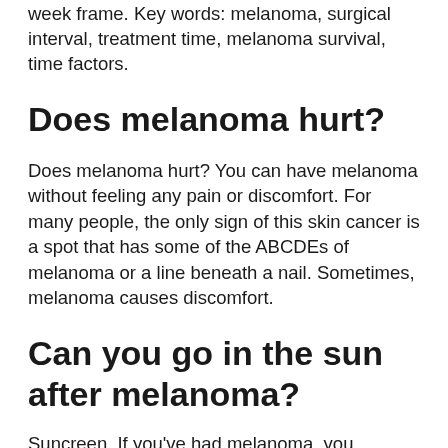week frame. Key words: melanoma, surgical interval, treatment time, melanoma survival, time factors.
Does melanoma hurt?
Does melanoma hurt? You can have melanoma without feeling any pain or discomfort. For many people, the only sign of this skin cancer is a spot that has some of the ABCDEs of melanoma or a line beneath a nail. Sometimes, melanoma causes discomfort.
Can you go in the sun after melanoma?
Suncreen. If you've had melanoma, you